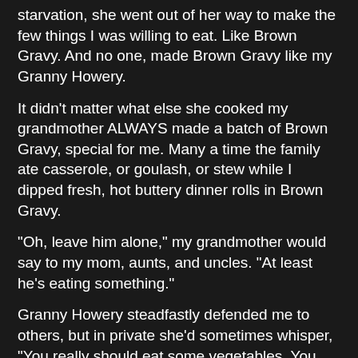starvation, she went out of her way to make the few things I was willing to eat. Like Brown Gravy. And no one, made Brown Gravy like my Granny Howery.

It didn't matter what else she cooked my grandmother ALWAYS made a batch of Brown Gravy, special for me. Many a time the family ate casserole, or goulash, or stew while I dipped fresh, hot buttery dinner rolls in Brown Gravy.

"Oh, leave him alone," my grandmother would say to my mom, aunts, and uncles. "At least he's eating something."

Granny Howery steadfastly defended me to others, but in private she'd sometimes whisper, "You really should eat some vegetables. You don't wanna get rickets."

To this day I'm not sure what rickets actually is, but I do know I never got them, and at six-foot five, and nearly three-hundred pounds I'm kind of glad I didn't eat all that stuff, for I do believe I'm as big and strong as anybody needs to be.

Not all Brown Gravy is as good or smooth as Granny